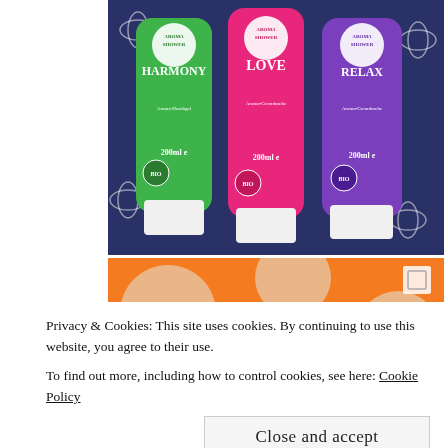[Figure (photo): Three Aroma Shower product tubes (HARMONY in green, LOVE in pink, RELAX in purple), each 200ml, arranged together on a dark navy floral patterned fabric background.]
[Figure (photo): Partial view of a product with orange and cream/beige circular pattern, partially obscured by cookie consent banner.]
Privacy & Cookies: This site uses cookies. By continuing to use this website, you agree to their use.
To find out more, including how to control cookies, see here: Cookie Policy
[Figure (photo): Bottom partial strip showing orange and cream design with 'SHAMPOO' text visible.]